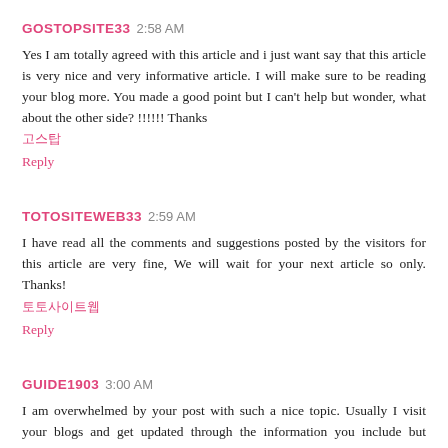GOSTOPSITE33  2:58 AM
Yes I am totally agreed with this article and i just want say that this article is very nice and very informative article. I will make sure to be reading your blog more. You made a good point but I can't help but wonder, what about the other side? !!!!!! Thanks
고스탑
Reply
TOTOSITEWEB33  2:59 AM
I have read all the comments and suggestions posted by the visitors for this article are very fine, We will wait for your next article so only. Thanks!
토토사이트웹
Reply
GUIDE1903  3:00 AM
I am overwhelmed by your post with such a nice topic. Usually I visit your blogs and get updated through the information you include but today's blog would be the most appreciable. Well done!